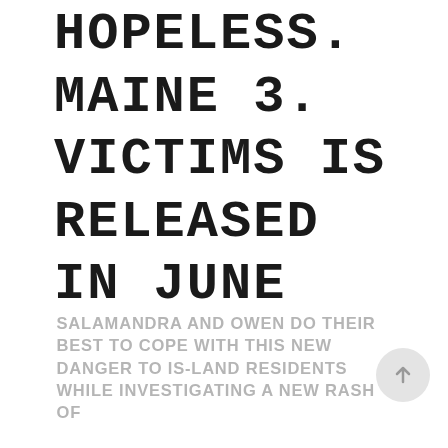HOPELESS. MAINE 3. VICTIMS IS RELEASED IN JUNE
Salamandra and Owen do their best to cope with this new danger to Is-land residents while investigating a new rash of